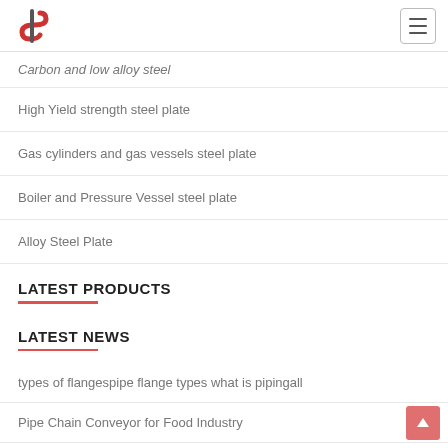Logo and navigation menu
Carbon and low alloy steel
High Yield strength steel plate
Gas cylinders and gas vessels steel plate
Boiler and Pressure Vessel steel plate
Alloy Steel Plate
LATEST PRODUCTS
LATEST NEWS
types of flangespipe flange types what is pipingall
Pipe Chain Conveyor for Food Industry